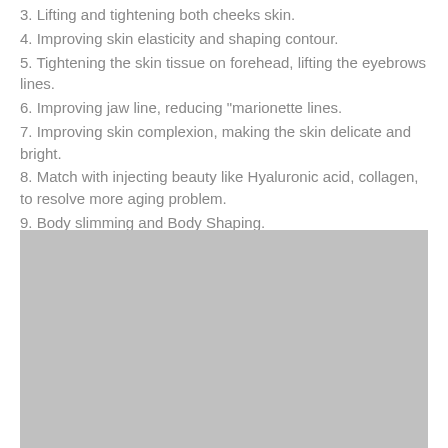3. Lifting and tightening both cheeks skin.
4. Improving skin elasticity and shaping contour.
5. Tightening the skin tissue on forehead, lifting the eyebrows lines.
6. Improving jaw line, reducing "marionette lines.
7. Improving skin complexion, making the skin delicate and bright.
8. Match with injecting beauty like Hyaluronic acid, collagen, to resolve more aging problem.
9. Body slimming and Body Shaping.
[Figure (photo): Gray placeholder image, likely showing a medical or beauty device or treatment result]